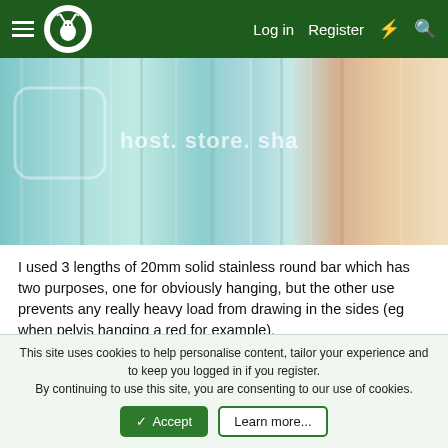Log in  Register
[Figure (photo): Close-up photo of brushed stainless steel round bar with text overlay 'host. store. share.' visible in light overlay on left side]
I used 3 lengths of 20mm solid stainless round bar which has two purposes, one for obviously hanging, but the other use prevents any really heavy load from drawing in the sides (eg when pelvis hanging a red for example).
I wouldn't fret about the holding capability of the pop rivets, these will hold the queen mary!
[Figure (photo): Partial view of dark background image at bottom of content area]
This site uses cookies to help personalise content, tailor your experience and to keep you logged in if you register.
By continuing to use this site, you are consenting to our use of cookies.